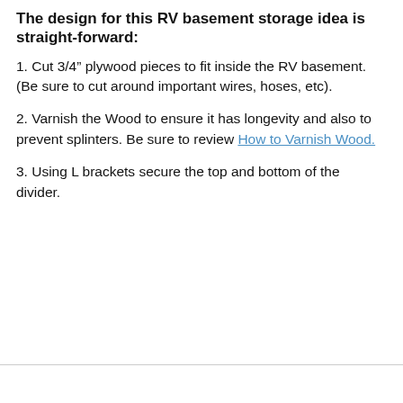The design for this RV basement storage idea is straight-forward:
1. Cut 3/4” plywood pieces to fit inside the RV basement. (Be sure to cut around important wires, hoses, etc).
2. Varnish the Wood to ensure it has longevity and also to prevent splinters. Be sure to review How to Varnish Wood.
3. Using L brackets secure the top and bottom of the divider.